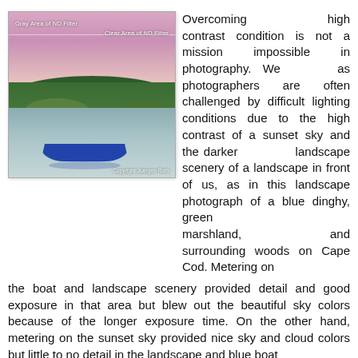[Figure (photo): Landscape photograph of a blue dinghy boat floating on a calm river with green marshland, surrounding woods, and a pink-purple sunset sky. Labels overlay the image: 'Gray Area of ND Filter' (upper left) and 'Clear Area of ND Filter' (upper right), separated by a horizontal line. Copyright notice: 'Copyright Juergen Roth' at bottom right.]
Overcoming high contrast condition is not a mission impossible in photography. We as photographers are often challenged by difficult lighting conditions due to the high contrast of a sunset sky and the darker landscape scenery of a landscape in front of us, as in this landscape photograph of a blue dinghy, green marshland, and surrounding woods on Cape Cod. Metering on the boat and landscape scenery provided detail and good exposure in that area but blew out the beautiful sky colors because of the longer exposure time. On the other hand, metering on the sunset sky provided nice sky and cloud colors but little to no detail in the landscape and blue boat